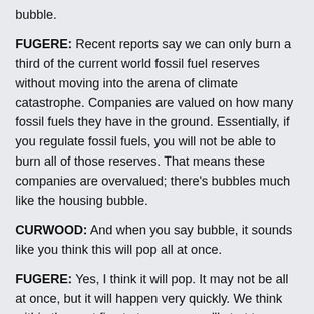bubble.
FUGERE: Recent reports say we can only burn a third of the current world fossil fuel reserves without moving into the arena of climate catastrophe. Companies are valued on how many fossil fuels they have in the ground. Essentially, if you regulate fossil fuels, you will not be able to burn all of those reserves. That means these companies are overvalued; there's bubbles much like the housing bubble.
CURWOOD: And when you say bubble, it sounds like you think this will pop all at once.
FUGERE: Yes, I think it will pop. It may not be all at once, but it will happen very quickly. We think within the next five to ten years, we'll start to see major carbon regulation. And that means that these companies will be devalued significantly, something like 40, 50, 60...